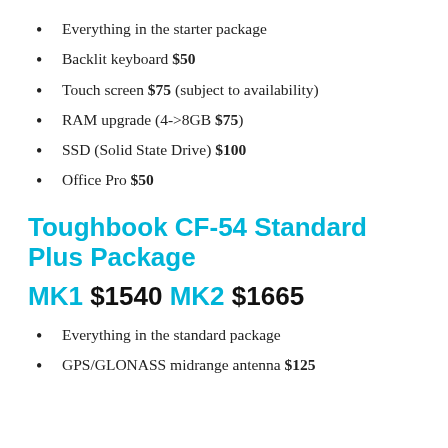Everything in the starter package
Backlit keyboard $50
Touch screen $75 (subject to availability)
RAM upgrade (4->8GB $75)
SSD (Solid State Drive) $100
Office Pro $50
Toughbook CF-54 Standard Plus Package
MK1 $1540 MK2 $1665
Everything in the standard package
GPS/GLONASS midrange antenna $125